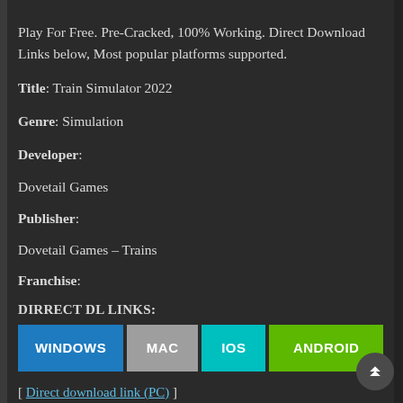Play For Free. Pre-Cracked, 100% Working. Direct Download Links below, Most popular platforms supported.
Title: Train Simulator 2022
Genre: Simulation
Developer:
Dovetail Games
Publisher:
Dovetail Games – Trains
Franchise:
DIRRECT DL LINKS:
[ Direct download link (PC) ]
Train Simulator